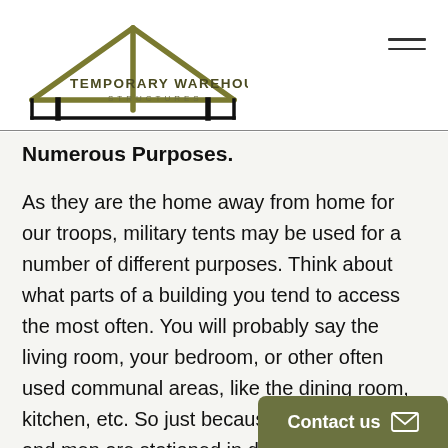[Figure (logo): Temporary Warehouse Structures logo: stylized house/tent outline in olive/black with company name text below]
Numerous Purposes.
As they are the home away from home for our troops, military tents may be used for a number of different purposes. Think about what parts of a building you tend to access the most often. You will probably say the living room, your bedroom, or other often used communal areas, like the dining room, kitchen, etc. So just because military women and men are stationed in different random areas doesn't mean th